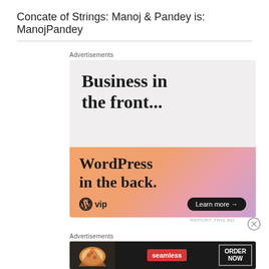Concate of Strings: Manoj & Pandey is: ManojPandey
[Figure (illustration): WordPress VIP advertisement: 'Business in the front... WordPress in the back.' with Learn more button and WP VIP logo on gradient background]
[Figure (illustration): Seamless food delivery advertisement showing pizza with ORDER NOW button]